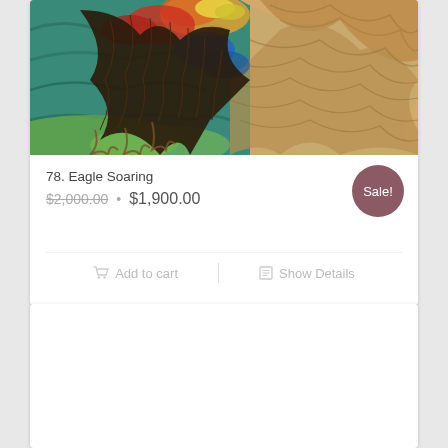[Figure (illustration): Colorful painting of an eagle soaring, with dark feathered wings spread wide, vibrant red, green, blue and yellow plumage, against a swirling golden-brown background in an impressionistic style]
78. Eagle Soaring
$2,000.00 • $1,900.00
Sale!
Add to cart
Show Details